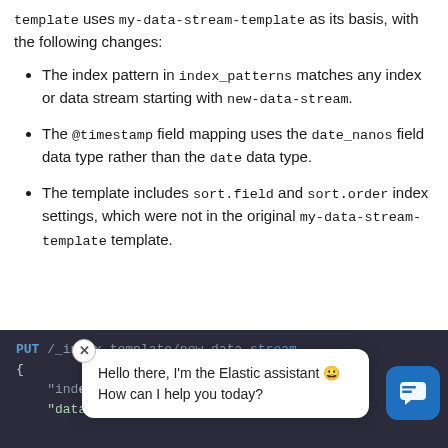template uses my-data-stream-template as its basis, with the following changes:
The index pattern in index_patterns matches any index or data stream starting with new-data-stream.
The @timestamp field mapping uses the date_nanos field data type rather than the date data type.
The template includes sort.field and sort.order index settings, which were not in the original my-data-stream-template template.
[Figure (screenshot): Dark-themed code editor panel showing a PUT API request, partially obscured by an Elastic assistant chat bubble popup saying 'Hello there, I'm the Elastic assistant 🤖 How can I help you today?' with a close button and a blue chat icon.]